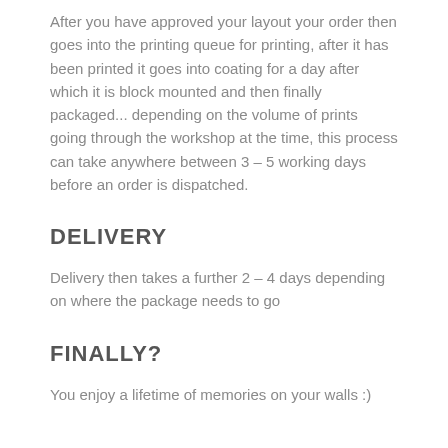After you have approved your layout your order then goes into the printing queue for printing, after it has been printed it goes into coating for a day after which it is block mounted and then finally packaged... depending on the volume of prints going through the workshop at the time, this process can take anywhere between 3 – 5 working days before an order is dispatched.
DELIVERY
Delivery then takes a further 2 – 4 days depending on where the package needs to go
FINALLY?
You enjoy a lifetime of memories on your walls :)